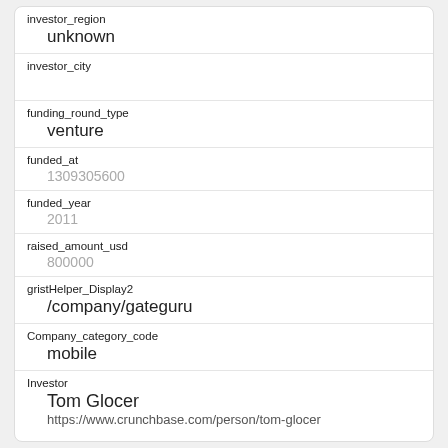| field | value |
| --- | --- |
| investor_region | unknown |
| investor_city |  |
| funding_round_type | venture |
| funded_at | 1309305600 |
| funded_year | 2011 |
| raised_amount_usd | 800000 |
| gristHelper_Display2 | /company/gateguru |
| Company_category_code | mobile |
| Investor | Tom Glocer
https://www.crunchbase.com/person/tom-glocer |